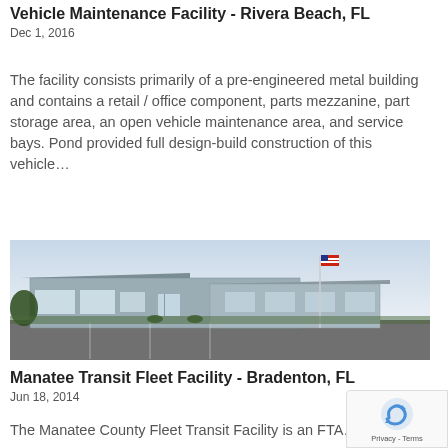Vehicle Maintenance Facility - Rivera Beach, FL
Dec 1, 2016
The facility consists primarily of a pre-engineered metal building and contains a retail / office component, parts mezzanine, part storage area, an open vehicle maintenance area, and service bays. Pond provided full design-build construction of this vehicle…
[Figure (photo): Exterior photograph of a transit fleet facility building at dusk/dawn, with a flag pole flying the American flag, a parking lot in the foreground, and landscaping around the building.]
Manatee Transit Fleet Facility - Bradenton, FL
Jun 18, 2014
The Manatee County Fleet Transit Facility is an FTA…